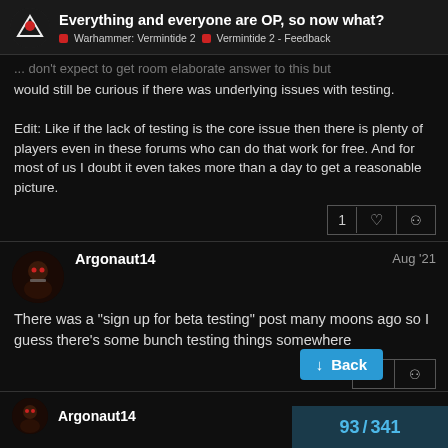Everything and everyone are OP, so now what? | Warhammer: Vermintide 2 | Vermintide 2 - Feedback
...would still be curious if there was underlying issues with testing.

Edit: Like if the lack of testing is the core issue then there is plenty of players even in these forums who can do that work for free. And for most of us I doubt it even takes more than a day to get a reasonable picture.
Argonaut14  Aug '21
There was a "sign up for beta testing" post many moons ago so I guess there's some bunch testing things somewhere
Argonaut14
93 / 341